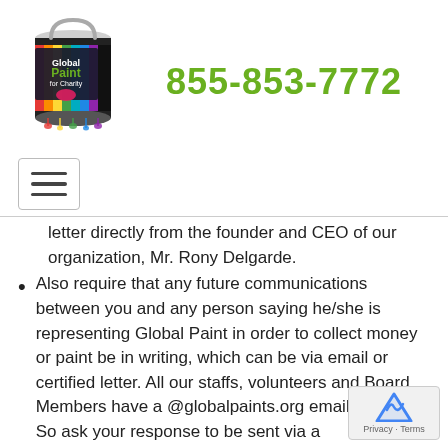[Figure (logo): Global Paint for Charity paint can logo with colorful paint drips]
855-853-7772
[Figure (other): Hamburger menu icon in a bordered box]
letter directly from the founder and CEO of our organization, Mr. Rony Delgarde.
Also require that any future communications between you and any person saying he/she is representing Global Paint in order to collect money or paint be in writing, which can be via email or certified letter. All our staffs, volunteers and Board Members have a @globalpaints.org email address. So ask your response to be sent via a @globalpaints.org email address (fullname@globalpaints.o
Do Some Research. Tell the caller you w back to them—ask for their name, address and